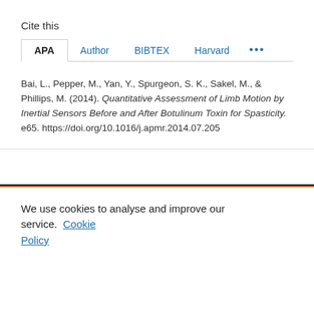Cite this
APA  Author  BIBTEX  Harvard  ...
Bai, L., Pepper, M., Yan, Y., Spurgeon, S. K., Sakel, M., & Phillips, M. (2014). Quantitative Assessment of Limb Motion by Inertial Sensors Before and After Botulinum Toxin for Spasticity. e65. https://doi.org/10.1016/j.apmr.2014.07.205
We use cookies to analyse and improve our service.  Cookie Policy